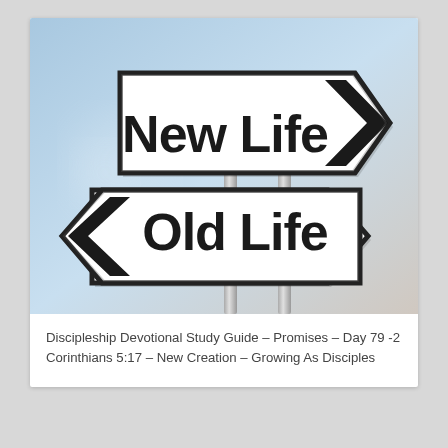[Figure (illustration): Two directional road signs on a pole against a blue sky background. The top sign points right and reads 'New Life'. The bottom sign points left and reads 'Old Life'.]
Discipleship Devotional Study Guide – Promises – Day 79 -2 Corinthians 5:17 – New Creation – Growing As Disciples